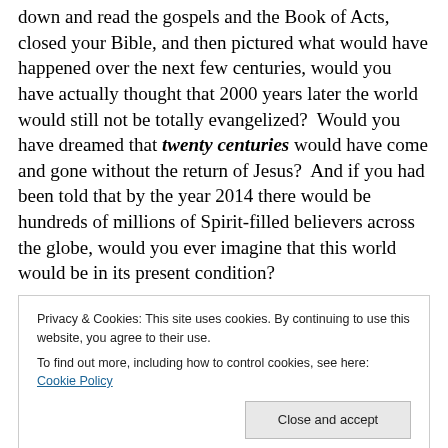down and read the gospels and the Book of Acts, closed your Bible, and then pictured what would have happened over the next few centuries, would you have actually thought that 2000 years later the world would still not be totally evangelized?  Would you have dreamed that twenty centuries would have come and gone without the return of Jesus?  And if you had been told that by the year 2014 there would be hundreds of millions of Spirit-filled believers across the globe, would you ever imagine that this world would be in its present condition?
[Figure (photo): Partial image strip showing two images side by side — left appears light/beige toned, right shows a dark-toned hand or object]
Privacy & Cookies: This site uses cookies. By continuing to use this website, you agree to their use.
To find out more, including how to control cookies, see here: Cookie Policy